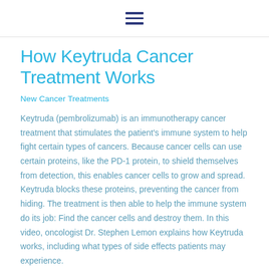[hamburger menu icon]
How Keytruda Cancer Treatment Works
New Cancer Treatments
Keytruda (pembrolizumab) is an immunotherapy cancer treatment that stimulates the patient's immune system to help fight certain types of cancers. Because cancer cells can use certain proteins, like the PD-1 protein, to shield themselves from detection, this enables cancer cells to grow and spread. Keytruda blocks these proteins, preventing the cancer from hiding. The treatment is then able to help the immune system do its job: Find the cancer cells and destroy them. In this video, oncologist Dr. Stephen Lemon explains how Keytruda works, including what types of side effects patients may experience.